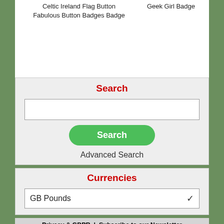Celtic Ireland Flag Button Fabulous Button Badges Badge
Geek Girl Badge
Search
Advanced Search
Currencies
GB Pounds
Privacy & GDPR | Subscribe to our Newsletter Koolbadges - Creators & Retailers of custom 25mm Button Badges. Hand made in the UK using UK Sourced hand presses & materials. A Manchester, England Based company who offers worldwide delivery on all badge orders.